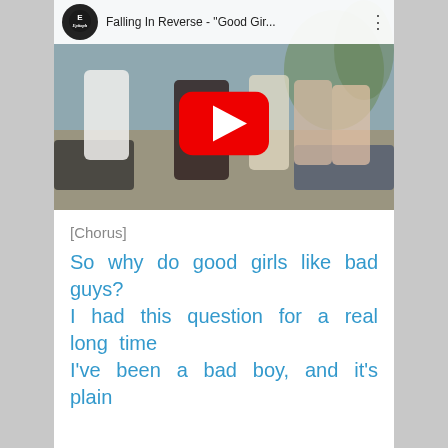[Figure (screenshot): YouTube video thumbnail for Falling In Reverse - 'Good Gir...' showing the Epitaph channel icon, video title, three-dot menu icon, and a music video scene with people dancing outdoors with a large red YouTube play button overlay.]
[Chorus]
So why do good girls like bad guys?
I had this question for a real long time
I've been a bad boy, and it's plain